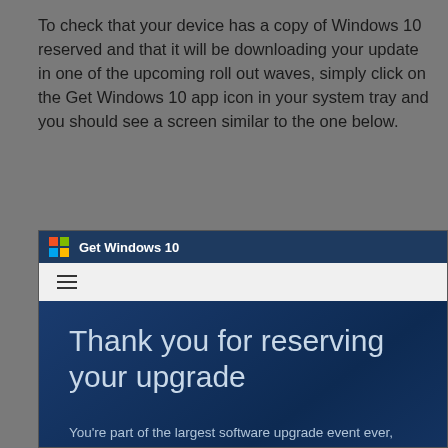To check that your device has a copy of Windows 10 reserved and that it will be downloading your update in one of the upcoming roll out waves, simply click on the Get Windows 10 app icon in your system tray and you should see a screen similar to the one below.
[Figure (screenshot): Screenshot of the 'Get Windows 10' application showing a confirmation message 'Thank you for reserving your upgrade' with explanatory text about being part of the largest software upgrade event and a notice to watch for the notification.]